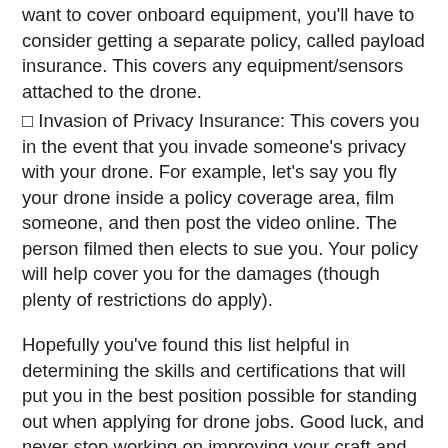want to cover onboard equipment, you'll have to consider getting a separate policy, called payload insurance. This covers any equipment/sensors attached to the drone.
□ Invasion of Privacy Insurance: This covers you in the event that you invade someone's privacy with your drone. For example, let's say you fly your drone inside a policy coverage area, film someone, and then post the video online. The person filmed then elects to sue you. Your policy will help cover you for the damages (though plenty of restrictions do apply).
Hopefully you've found this list helpful in determining the skills and certifications that will put you in the best position possible for standing out when applying for drone jobs. Good luck, and never stop working on improving your craft and fueling your passion for aerial